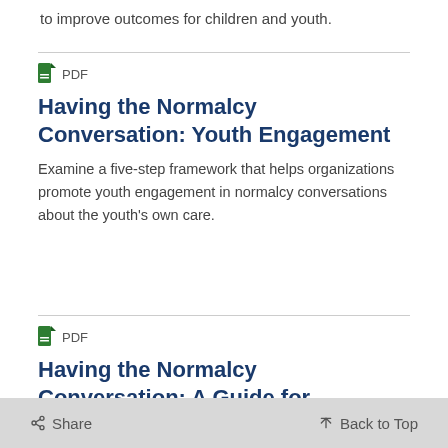to improve outcomes for children and youth.
PDF
Having the Normalcy Conversation: Youth Engagement
Examine a five-step framework that helps organizations promote youth engagement in normalcy conversations about the youth's own care.
PDF
Having the Normalcy Conversation: A Guide for Discussing Developmentally Appropriate Services for Children,